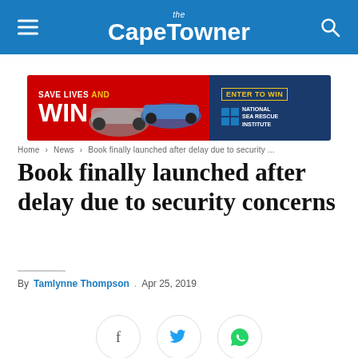the Cape Towner
[Figure (other): Advertisement banner: SAVE LIVES AND WIN with cars, ENTER TO WIN, National Sea Rescue Institute]
Home > News > Book finally launched after delay due to security ...
Book finally launched after delay due to security concerns
By Tamlynne Thompson . Apr 25, 2019
[Figure (other): Social sharing buttons: Facebook, Twitter, WhatsApp]